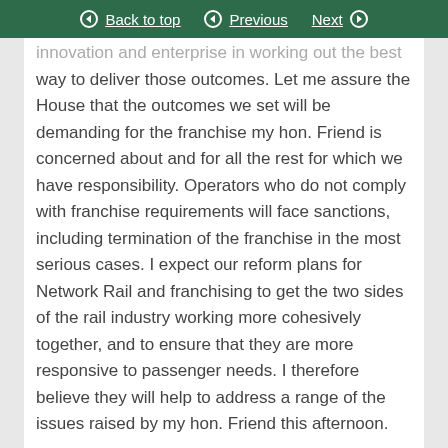Back to top | Previous | Next
innovation and enterprise in working out the best way to deliver those outcomes. Let me assure the House that the outcomes we set will be demanding for the franchise my hon. Friend is concerned about and for all the rest for which we have responsibility. Operators who do not comply with franchise requirements will face sanctions, including termination of the franchise in the most serious cases. I expect our reform plans for Network Rail and franchising to get the two sides of the rail industry working more cohesively together, and to ensure that they are more responsive to passenger needs. I therefore believe they will help to address a range of the issues raised by my hon. Friend this afternoon.